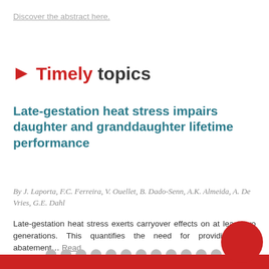Discover the abstract here.
Timely topics
Late-gestation heat stress impairs daughter and granddaughter lifetime performance
By J. Laporta, F.C. Ferreira, V. Ouellet, B. Dado-Senn, A.K. Almeida, A. De Vries, G.E. Dahl
Late-gestation heat stress exerts carryover effects on at least two generations. This quantifies the need for providing heat abatement… Read